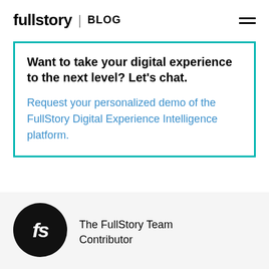fullstory | BLOG
Want to take your digital experience to the next level? Let's chat.

Request your personalized demo of the FullStory Digital Experience Intelligence platform.
[Figure (logo): FullStory logo: black circle with white 'fs' letters in italic]
The FullStory Team
Contributor